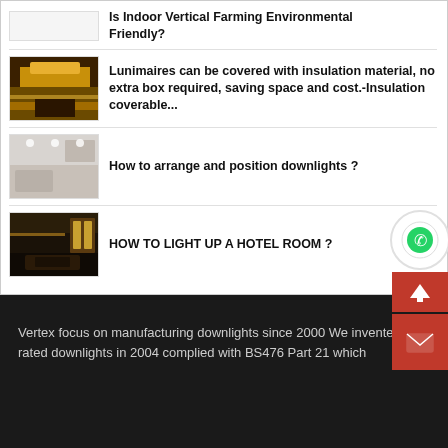Is Indoor Vertical Farming Environmental Friendly?
[Figure (photo): Decorative gold textured ceiling/wall lighting photo]
Lunimaires can be covered with insulation material, no extra box required, saving space and cost.-Insulation coverable...
[Figure (photo): Hotel bedroom interior with ceiling downlights]
How to arrange and position downlights ?
[Figure (photo): Hotel room interior with decorative wall lighting]
HOW TO LIGHT UP A HOTEL ROOM ?
Vertex focus on manufacturing downlights since 2000 We invented fire rated downlights in 2004 complied with BS476 Part 21 which